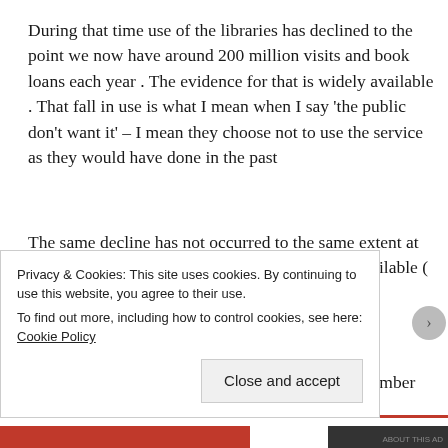During that time use of the libraries has declined to the point we now have around 200 million visits and book loans each year . The evidence for that is widely available . That fall in use is what I mean when I say ‘the public don’t want it’ – I mean they choose not to use the service as they would have done in the past
The same decline has not occurred to the same extent at all in other countries . The evidence for that is available ( I have sent it to you in the past
The figures for last year will be published in December
Privacy & Cookies: This site uses cookies. By continuing to use this website, you agree to their use.
To find out more, including how to control cookies, see here: Cookie Policy